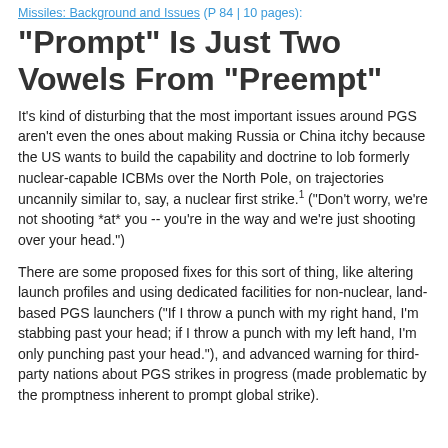Missiles: Background and Issues (P 84 | 10 pages):
"Prompt" Is Just Two Vowels From "Preempt"
It's kind of disturbing that the most important issues around PGS aren't even the ones about making Russia or China itchy because the US wants to build the capability and doctrine to lob formerly nuclear-capable ICBMs over the North Pole, on trajectories uncannily similar to, say, a nuclear first strike.1 ("Don't worry, we're not shooting *at* you -- you're in the way and we're just shooting over your head.")
There are some proposed fixes for this sort of thing, like altering launch profiles and using dedicated facilities for non-nuclear, land-based PGS launchers ("If I throw a punch with my right hand, I'm stabbing past your head; if I throw a punch with my left hand, I'm only punching past your head."), and advanced warning for third-party nations about PGS strikes in progress (made problematic by the promptness inherent to prompt global strike).